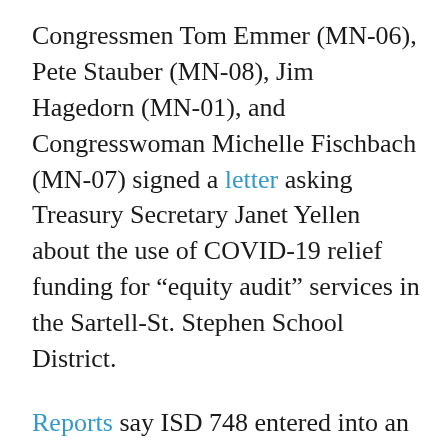Congressmen Tom Emmer (MN-06), Pete Stauber (MN-08), Jim Hagedorn (MN-01), and Congresswoman Michelle Fischbach (MN-07) signed a letter asking Treasury Secretary Janet Yellen about the use of COVID-19 relief funding for “equity audit” services in the Sartell-St. Stephen School District.
Reports say ISD 748 entered into an $80,000 contract with Equity Alliance Minnesota to use COVID-19 relief